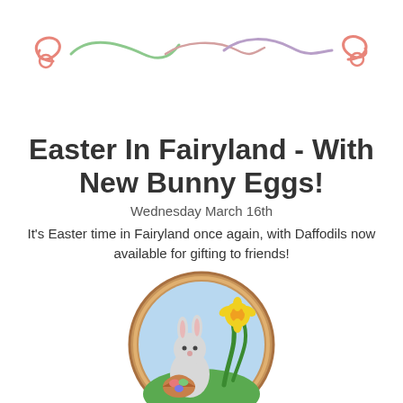[Figure (illustration): Decorative Easter swirl banner with pink, green, and purple curling ribbon-like designs]
Easter In Fairyland - With New Bunny Eggs!
Wednesday March 16th
It's Easter time in Fairyland once again, with Daffodils now available for gifting to friends!
[Figure (illustration): Circular illustration of a cartoon bunny holding an Easter basket with eggs, with a daffodil flower and green leaves, framed by a golden/brown wicker-style border]